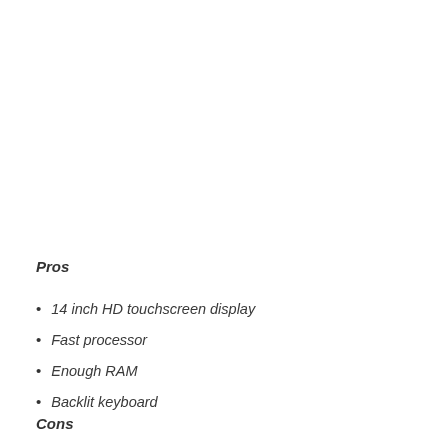Pros
14 inch HD touchscreen display
Fast processor
Enough RAM
Backlit keyboard
Cons